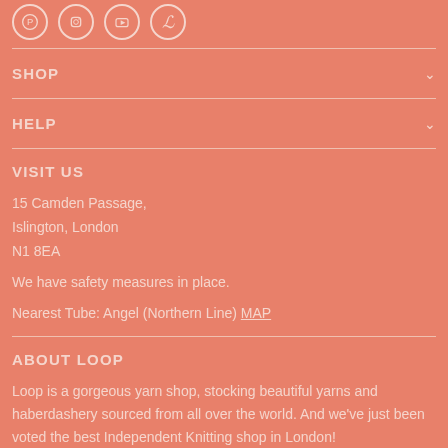[Figure (illustration): Social media icons row: Pinterest, Instagram, YouTube, and a script L logo, each in a circle outline]
SHOP
HELP
VISIT US
15 Camden Passage,
Islington, London
N1 8EA
We have safety measures in place.
Nearest Tube: Angel (Northern Line) MAP
ABOUT LOOP
Loop is a gorgeous yarn shop, stocking beautiful yarns and haberdashery sourced from all over the world. And we've just been voted the best Independent Knitting shop in London!